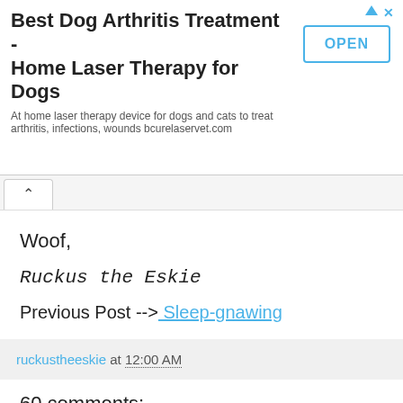[Figure (screenshot): Advertisement banner for 'Best Dog Arthritis Treatment - Home Laser Therapy for Dogs' with an OPEN button]
Woof,
Ruckus the Eskie
Previous Post --> Sleep-gnawing
ruckustheeskie at 12:00 AM
60 comments:
Unknown January 13, 2014 at 4:47 AM